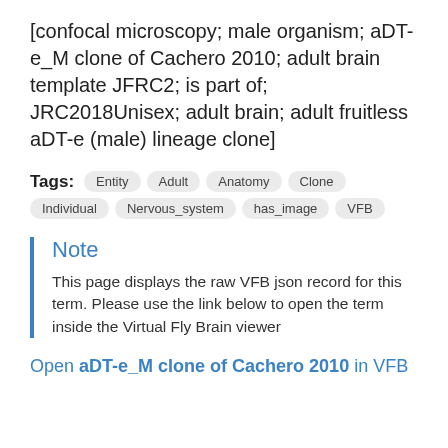[confocal microscopy; male organism; aDT-e_M clone of Cachero 2010; adult brain template JFRC2; is part of; JRC2018Unisex; adult brain; adult fruitless aDT-e (male) lineage clone]
Tags: Entity Adult Anatomy Clone Individual Nervous_system has_image VFB
Note
This page displays the raw VFB json record for this term. Please use the link below to open the term inside the Virtual Fly Brain viewer
Open aDT-e_M clone of Cachero 2010 in VFB